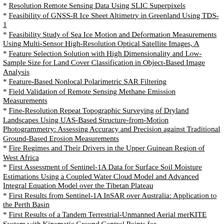Resolution Remote Sensing Data Using SLIC Superpixels
Feasibility of GNSS-R Ice Sheet Altimetry in Greenland Using TDS-1
Feasibility Study of Sea Ice Motion and Deformation Measurements Using Multi-Sensor High-Resolution Optical Satellite Images, A
Feature Selection Solution with High Dimensionality and Low-Sample Size for Land Cover Classification in Object-Based Image Analysis
Feature-Based Nonlocal Polarimetric SAR Filtering
Field Validation of Remote Sensing Methane Emission Measurements
Fine-Resolution Repeat Topographic Surveying of Dryland Landscapes Using UAS-Based Structure-from-Motion Photogrammetry: Assessing Accuracy and Precision against Traditional Ground-Based Erosion Measurements
Fire Regimes and Their Drivers in the Upper Guinean Region of West Africa
First Assessment of Sentinel-1A Data for Surface Soil Moisture Estimations Using a Coupled Water Cloud Model and Advanced Integral Equation Model over the Tibetan Plateau
First Results from Sentinel-1A InSAR over Australia: Application to the Perth Basin
First Results of a Tandem Terrestrial-Unmanned Aerial merKITE System with Kinematic Ground Control Points for